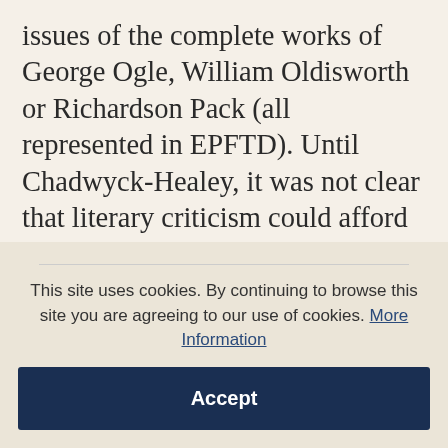issues of the complete works of George Ogle, William Oldisworth or Richardson Pack (all represented in EPFTD). Until Chadwyck-Healey, it was not clear that literary criticism could afford the panoply of advanced technology. Riding on the success of EPFTD Chadwyck-Healey has followed up with English Verse Drama: The Full-Text Database. This will be launched in late 1994 and will be complete in 1998. A comparative snip at £10,000, it will gather 1500 works by 450 playwrights, with Shakespeare as its main
This site uses cookies. By continuing to browse this site you are agreeing to our use of cookies. More Information
Accept